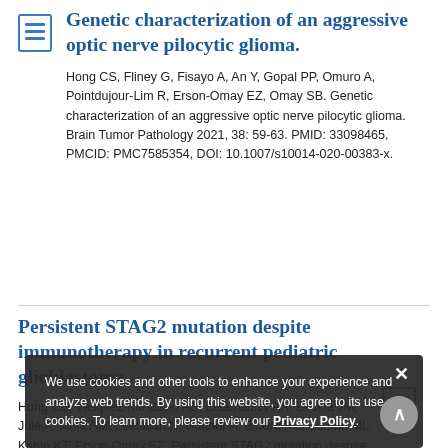Genetic characterization of an aggressive optic nerve pilocytic glioma.
Hong CS, Fliney G, Fisayo A, An Y, Gopal PP, Omuro A, Pointdujour-Lim R, Erson-Omay EZ, Omay SB. Genetic characterization of an aggressive optic nerve pilocytic glioma. Brain Tumor Pathology 2021, 38: 59-63. PMID: 33098465, PMCID: PMC7585354, DOI: 10.1007/s10014-020-00383-x.
Persistent STAG2 mutation despite immunotherapy in recurrent pediatric glioblastoma.
Hong CS, Vasquez Kundizon AS, Elsamadicy AA, Beckta JM, Jule A, Mark AM, Leelatian N, Huttner A, Bindra RS, DiLuna ML, Kahle KT, Erson-Omay EZ. Persistent STAG2 mutation despite
We use cookies and other tools to enhance your experience and analyze web trends. By using this website, you agree to its use of cookies. To learn more, please review our Privacy Policy.